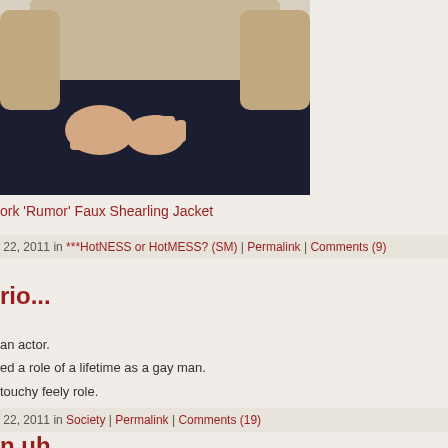[Figure (photo): Cropped photo of a person wearing dark jeans and a beige faux shearling jacket, showing torso and hands clasped together against a light background]
ork 'Rumor' Faux Shearling Jacket
22, 2011 in ***HotNESS or HotMESS? (SM) | Permalink | Comments (9)
rio...
an actor.
ed a role of a lifetime as a gay man.
touchy feely role.
22, 2011 in Society | Permalink | Comments (19)
n uh...